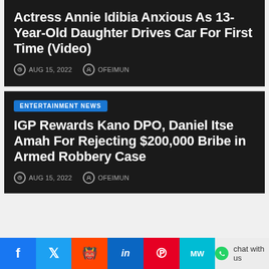Actress Annie Idibia Anxious As 13-Year-Old Daughter Drives Car For First Time (Video)
AUG 15, 2022   OFEIMUN
ENTERTAINMENT NEWS
IGP Rewards Kano DPO, Daniel Itse Amah For Rejecting $200,000 Bribe in Armed Robbery Case
AUG 15, 2022   OFEIMUN